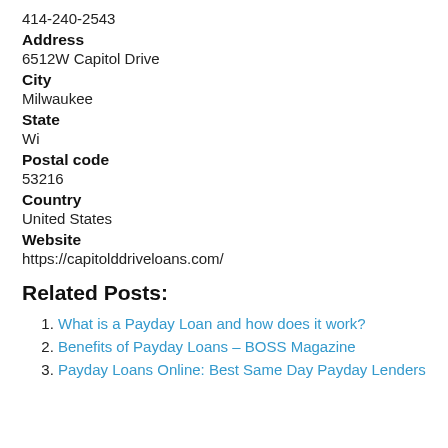414-240-2543
Address
6512W Capitol Drive
City
Milwaukee
State
Wi
Postal code
53216
Country
United States
Website
https://capitolddriveloans.com/
Related Posts:
What is a Payday Loan and how does it work?
Benefits of Payday Loans – BOSS Magazine
Payday Loans Online: Best Same Day Payday Lenders